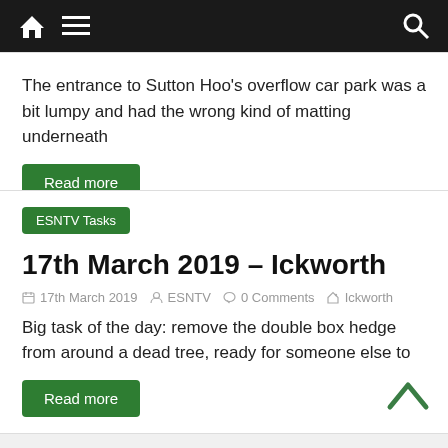Navigation bar with home, menu, and search icons
The entrance to Sutton Hoo's overflow car park was a bit lumpy and had the wrong kind of matting underneath
Read more
ESNTV Tasks
17th March 2019 – Ickworth
17th March 2019  ESNTV  0 Comments  Ickworth
Big task of the day: remove the double box hedge from around a dead tree, ready for someone else to
Read more